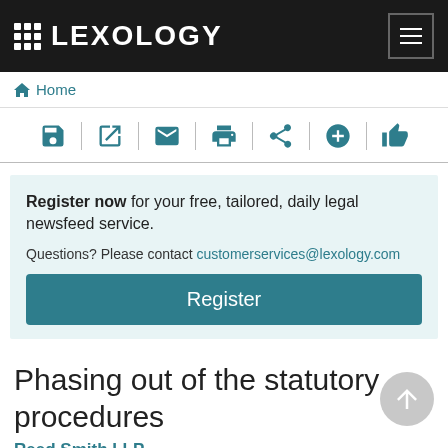LEXOLOGY
Home
[Figure (screenshot): Toolbar with icons: save, external link, email, print, share, add, like]
Register now for your free, tailored, daily legal newsfeed service. Questions? Please contact customerservices@lexology.com
Register
Phasing out of the statutory procedures
Reed Smith LLP